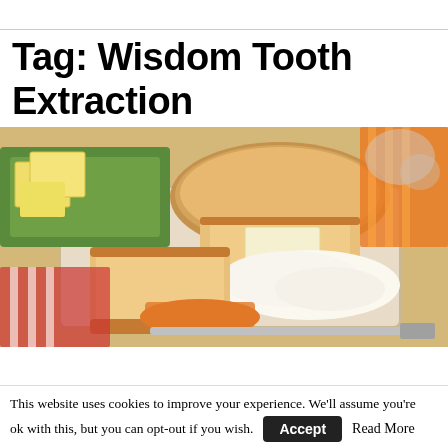Tag: Wisdom Tooth Extraction
[Figure (photo): Sliced bread on a wooden cutting board with butter and cream cheese spread, cubed butter on a green tray, and a knife, food items related to soft foods after wisdom tooth extraction]
This website uses cookies to improve your experience. We'll assume you're ok with this, but you can opt-out if you wish. Accept Read More